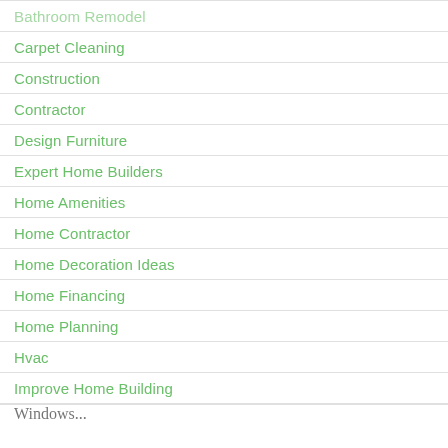Bathroom Remodel
Carpet Cleaning
Construction
Contractor
Design Furniture
Expert Home Builders
Home Amenities
Home Contractor
Home Decoration Ideas
Home Financing
Home Planning
Hvac
Improve Home Building
Windows...